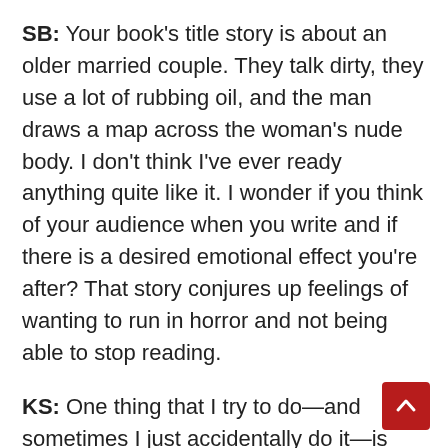SB: Your book's title story is about an older married couple. They talk dirty, they use a lot of rubbing oil, and the man draws a map across the woman's nude body. I don't think I've ever ready anything quite like it. I wonder if you think of your audience when you write and if there is a desired emotional effect you're after? That story conjures up feelings of wanting to run in horror and not being able to stop reading.
KS: One thing that I try to do—and sometimes I just accidentally do it—is write a story or a scene in a story that hits more than one emotional button. I want to write something that is funny but I want it to be a little shocking or depressing too. Or I want something to gritty and realistic but I want it to be fucked up and